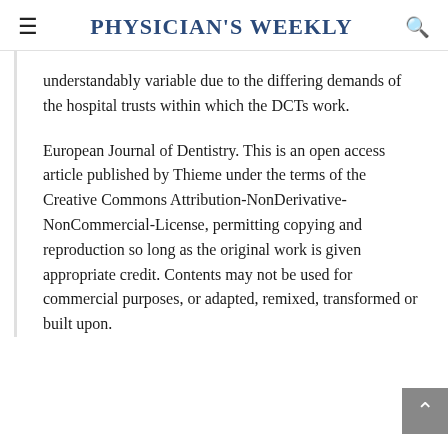Physician's Weekly
understandably variable due to the differing demands of the hospital trusts within which the DCTs work.
European Journal of Dentistry. This is an open access article published by Thieme under the terms of the Creative Commons Attribution-NonDerivative-NonCommercial-License, permitting copying and reproduction so long as the original work is given appropriate credit. Contents may not be used for commercial purposes, or adapted, remixed, transformed or built upon.